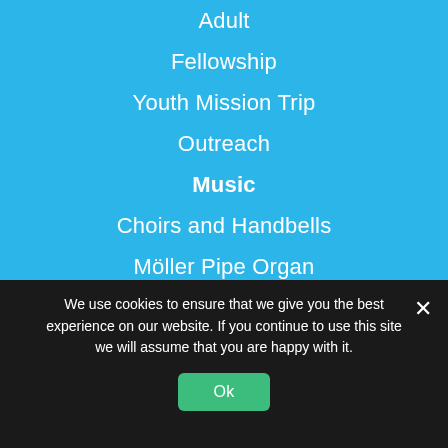Adult
Fellowship
Youth Mission Trip
Outreach
Music
Choirs and Handbells
Möller Pipe Organ
4 O'Clock Concerts
About Us
We use cookies to ensure that we give you the best experience on our website. If you continue to use this site we will assume that you are happy with it.